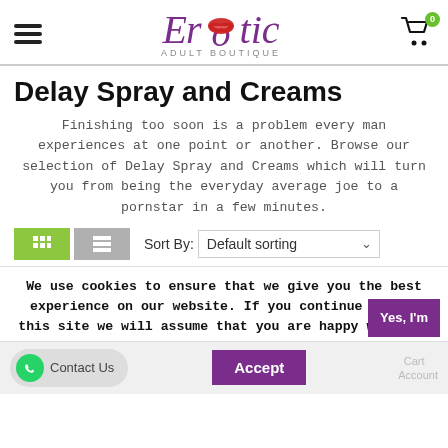[Figure (logo): Erotic Adult Boutique logo with purple cursive text and red lips replacing the letter o]
Delay Spray and Creams
Finishing too soon is a problem every man experiences at one point or another. Browse our selection of Delay Spray and Creams which will turn you from being the everyday average joe to a pornstar in a few minutes.
Sort By: Default sorting
We use cookies to ensure that we give you the best experience on our website. If you continue to use this site we will assume that you are happy with it.
Contact Us
Accept